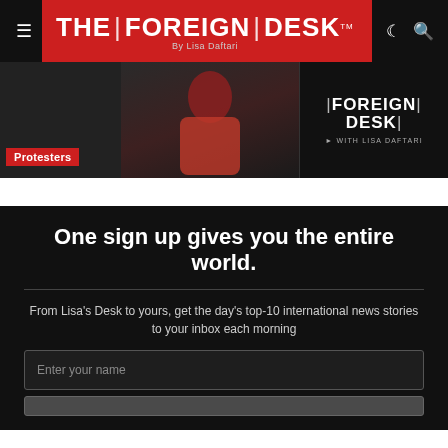THE | FOREIGN | DESK By Lisa Daftari
[Figure (screenshot): Banner image showing text 'Protesters' on red label and Foreign Desk logo on dark background with figure in red clothing]
One sign up gives you the entire world.
From Lisa's Desk to yours, get the day's top-10 international news stories to your inbox each morning
Enter your name